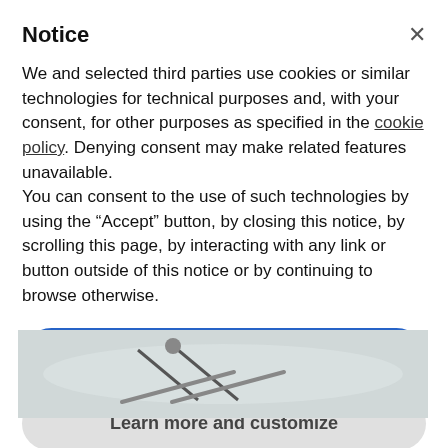Notice
We and selected third parties use cookies or similar technologies for technical purposes and, with your consent, for other purposes as specified in the cookie policy. Denying consent may make related features unavailable.
You can consent to the use of such technologies by using the “Accept” button, by closing this notice, by scrolling this page, by interacting with any link or button outside of this notice or by continuing to browse otherwise.
Accept
Learn more and customize
[Figure (photo): A skiing photo showing a person on snowy slopes, viewed from above.]
An attempt to ski. See how he can't hold a snowplow?